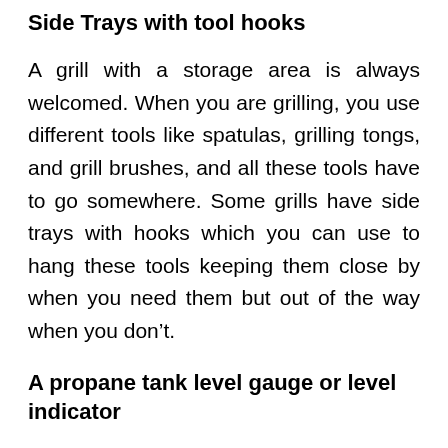Side Trays with tool hooks
A grill with a storage area is always welcomed. When you are grilling, you use different tools like spatulas, grilling tongs, and grill brushes, and all these tools have to go somewhere. Some grills have side trays with hooks which you can use to hang these tools keeping them close by when you need them but out of the way when you don’t.
A propane tank level gauge or level indicator